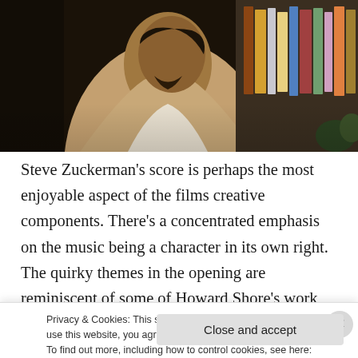[Figure (photo): A man in a tan/beige jacket sitting against a backdrop of bookshelves with colorful book spines. Dark, moody lighting.]
Steve Zuckerman’s score is perhaps the most enjoyable aspect of the films creative components. There’s a concentrated emphasis on the music being a character in its own right. The quirky themes in the opening are reminiscent of some of Howard Shore’s work (Panic Room, The Game, Dead Ringers), who interestingly
Privacy & Cookies: This site uses cookies. By continuing to use this website, you agree to their use.
To find out more, including how to control cookies, see here: Cookie Policy
Close and accept